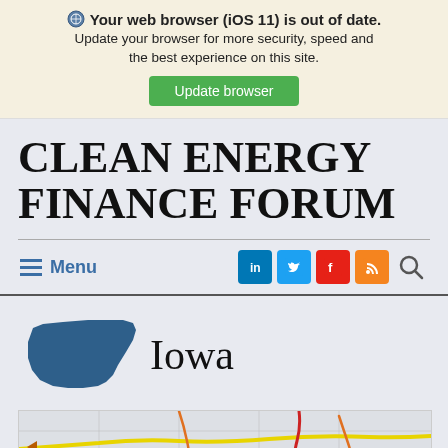Your web browser (iOS 11) is out of date. Update your browser for more security, speed and the best experience on this site. Update browser
CLEAN ENERGY FINANCE FORUM
Menu
[Figure (screenshot): Iowa state silhouette icon in dark blue, followed by the text 'Iowa' in serif font]
[Figure (map): Partial road map showing Iowa with colored route lines (yellow, red, orange) on a light gray background with county/road grid lines]